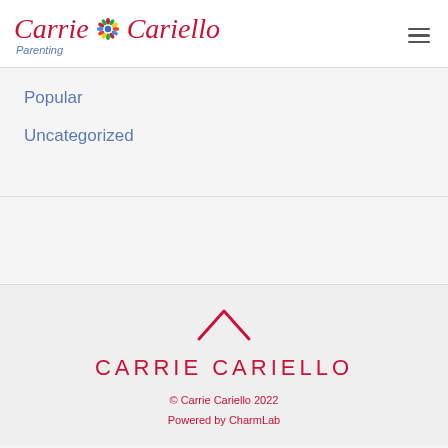Carrie Cariello — Parenting
Popular
Uncategorized
CARRIE CARIELLO
© Carrie Cariello 2022
Powered by CharmLab